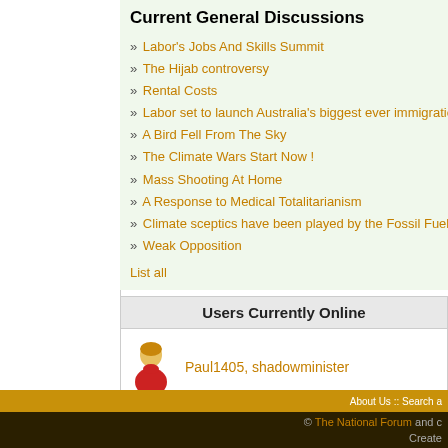Current General Discussions
» Labor's Jobs And Skills Summit
» The Hijab controversy
» Rental Costs
» Labor set to launch Australia's biggest ever immigration p
» A Bird Fell From The Sky
» The Climate Wars Start Now !
» Mass Shooting At Home
» A Response to Medical Totalitarianism
» Climate sceptics have been played by the Fossil Fuel ind
» Weak Opposition
List all
Users Currently Online
Paul1405, shadowminister
Newest Users
ss66393, ryanmadison, maxs, The voice of reason, Immediate Edge, Maxxx17, Johnrose, Sarbaniach, Indyvidual, joanem, legitm
About Us :: Search a
© The National Forum and c Create